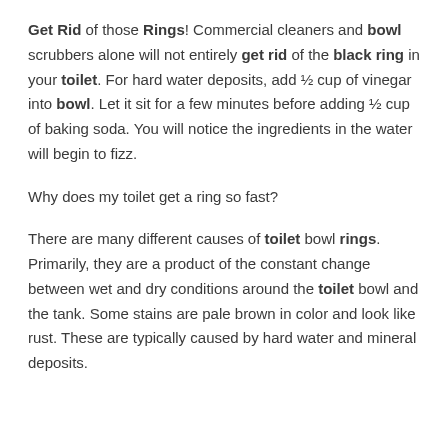Get Rid of those Rings! Commercial cleaners and bowl scrubbers alone will not entirely get rid of the black ring in your toilet. For hard water deposits, add ½ cup of vinegar into bowl. Let it sit for a few minutes before adding ½ cup of baking soda. You will notice the ingredients in the water will begin to fizz.
Why does my toilet get a ring so fast?
There are many different causes of toilet bowl rings. Primarily, they are a product of the constant change between wet and dry conditions around the toilet bowl and the tank. Some stains are pale brown in color and look like rust. These are typically caused by hard water and mineral deposits.